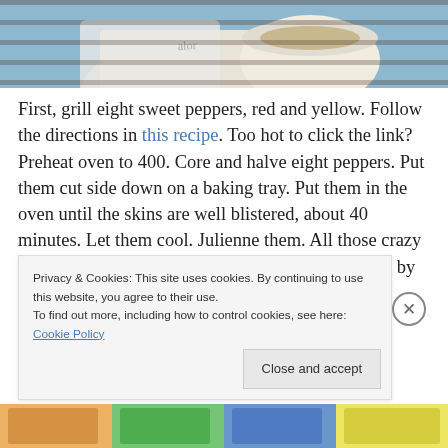[Figure (photo): Cropped photo of a colorful mural showing a figure in white clothing holding a large bowl/cup, painted on what appears to be a textured surface with horizontal blind-like bars across it. Blues, whites, and warm tones visible.]
First, grill eight sweet peppers, red and yellow. Follow the directions in this recipe. Too hot to click the link? Preheat oven to 400. Core and halve eight peppers. Put them cut side down on a baking tray. Put them in the oven until the skins are well blistered, about 40 minutes. Let them cool. Julienne them. All those crazy people who insist the only way to roast a pepper is by holding it over a flame with
Privacy & Cookies: This site uses cookies. By continuing to use this website, you agree to their use.
To find out more, including how to control cookies, see here: Cookie Policy
Close and accept